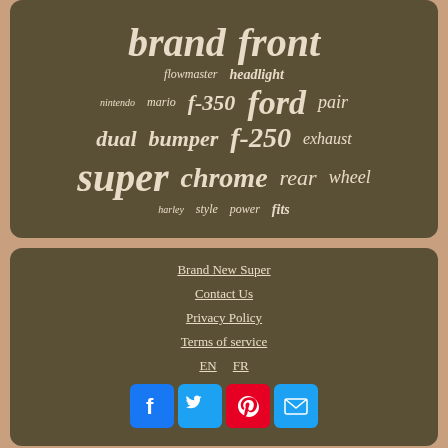[Figure (infographic): Word cloud / tag cloud on dark olive-brown panel with words: brand, front, flowmaster, headlight, nintendo, mario, f-350, ford, pair, dual, bumper, f-250, exhaust, super, chrome, rear, wheel, harley, style, power, fits]
Brand New Super
Contact Us
Privacy Policy
Terms of service
EN  FR
[Figure (infographic): Social media icons row: Facebook (blue), Twitter (light blue), Pinterest (red), Email (light blue)]